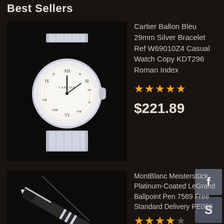Best Sellers
[Figure (photo): Cartier Ballon Bleu 29mm silver bracelet watch on black background]
Cartier Ballon Bleu 29mm Silver Bracelet Ref W69010Z4 Casual Watch Copy KDT296 Roman Index
★★★★★
$221.89
[Figure (photo): MontBlanc Meisterstück ballpoint pen on black background]
MontBlanc Meisterstück Platinum-Coated LeGrand Ballpoint Pen 7569 Free Standard Delivery PE069
★★★★☆
$98.61